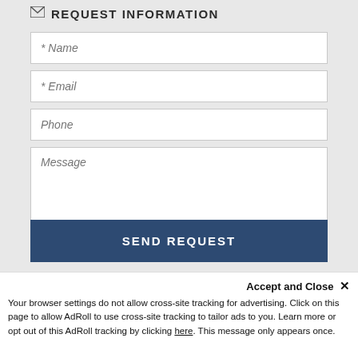REQUEST INFORMATION
* Name
* Email
Phone
Message
*Required
SEND REQUEST
Accept and Close ×
Your browser settings do not allow cross-site tracking for advertising. Click on this page to allow AdRoll to use cross-site tracking to tailor ads to you. Learn more or opt out of this AdRoll tracking by clicking here. This message only appears once.